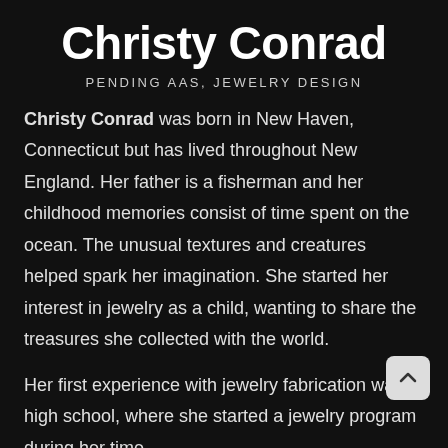Christy Conrad
PENDING AAS, JEWELRY DESIGN
Christy Conrad was born in New Haven, Connecticut but has lived throughout New England. Her father is a fisherman and her childhood memories consist of time spent on the ocean. The unusual textures and creatures helped spark her imagination. She started her interest in jewelry as a child, wanting to share the treasures she collected with the world.
Her first experience with jewelry fabrication was in high school, where she started a jewelry program during her time